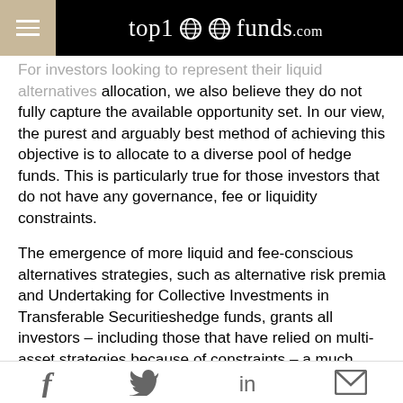top1000funds.com
For investors looking to represent their liquid alternatives allocation, we also believe they do not fully capture the available opportunity set. In our view, the purest and arguably best method of achieving this objective is to allocate to a diverse pool of hedge funds. This is particularly true for those investors that do not have any governance, fee or liquidity constraints.
The emergence of more liquid and fee-conscious alternatives strategies, such as alternative risk premia and Undertaking for Collective Investments in Transferable Securitieshedge funds, grants all investors – including those that have relied on multi-asset strategies because of constraints – a much wider range of strategies to choose from to ensure they can access the broadest range of return sources. Therefore, we see idiosyncratic multi-asset strategies as only one part of the range of options
f  [twitter]  in  [email]